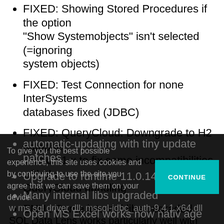FIXED: Showing Stored Procedures if the option “Show Systemobjects” isn’t selected (=ignoring system objects)
FIXED: Test Connection for none InterSystems databases fixed (JDBC)
FIXED: QueryCloud: Downgrade to H2 databae version 1.x to fix some incompatibilities with the QueryCloud handling
ENH : Some internal libs upgraded
SQL DATA LENS contains now an updater for full automatic-updating with tiny update patches
Upgrade to runtime 11.0.14.2
Many internal libs upgraded
Open MS Excel works now nativ age
ENF: Files are saved (and)
To give you the best possible experience, this site uses cookies and by continuing to use the site you agree that we can save them on your device.
CONTINUE
w ms sql driver dll: mssql-jdbc_auth-9.4.1.x64.dll
SQL Data Lens works particularly well with Intersystems